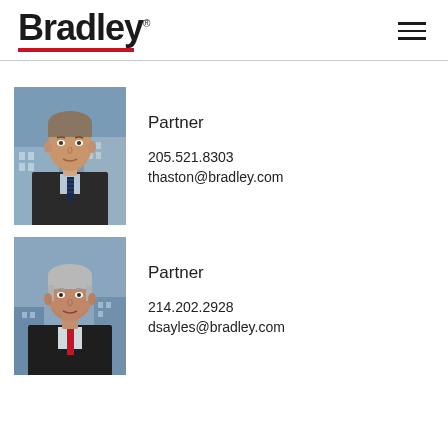Bradley
[Figure (photo): Professional headshot of a man in a dark suit with striped tie, standing in front of an office building background]
Partner
205.521.8303
thaston@bradley.com
[Figure (photo): Professional headshot of an older man in a dark suit with a red tie, standing against a city skyline background]
Partner
214.202.2928
dsayles@bradley.com